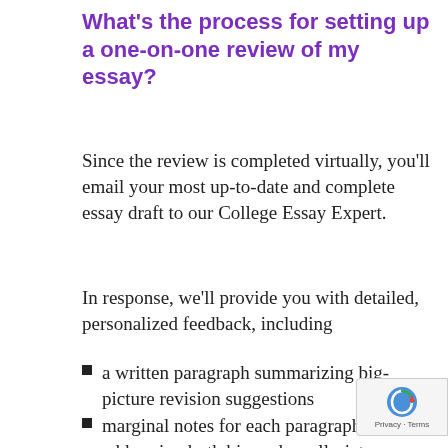What's the process for setting up a one-on-one review of my essay?
Since the review is completed virtually, you'll email your most up-to-date and complete essay draft to our College Essay Expert.
In response, we'll provide you with detailed, personalized feedback, including
a written paragraph summarizing big-picture revision suggestions
marginal notes for each paragraph addressing both big and small-picture…